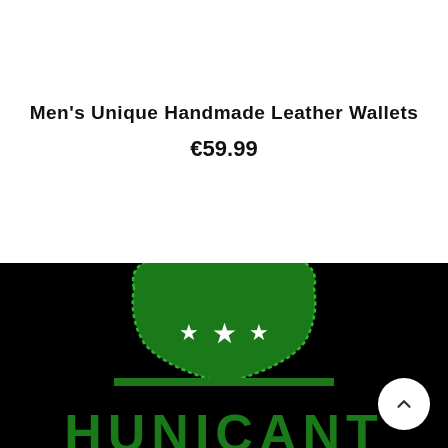Men's Unique Handmade Leather Wallets
€59.99
[Figure (logo): Green shield/badge logo with three white stars and text 'HUNICANT' below in green letterforms, on black background]